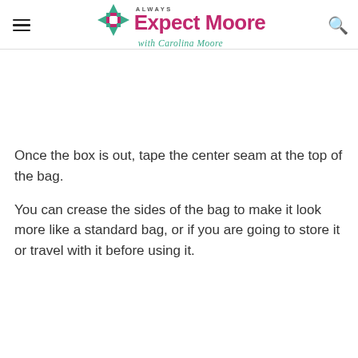Always Expect Moore with Carolina Moore
Once the box is out, tape the center seam at the top of the bag.
You can crease the sides of the bag to make it look more like a standard bag, or if you are going to store it or travel with it before using it.